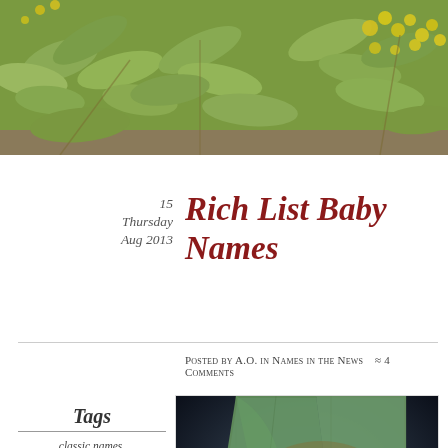[Figure (photo): Header photo of green leaves and yellow wattle flowers against a white sky]
15
Thursday
Aug 2013
Rich List Baby Names
Posted by A.O. in Names in the News  ≈ 4 Comments
Tags
classic names,
famous namesakes,
name popularity,
[Figure (photo): Photo of a sleeping newborn baby wrapped in Australian banknotes (currency), posed in a sling against a dark background]